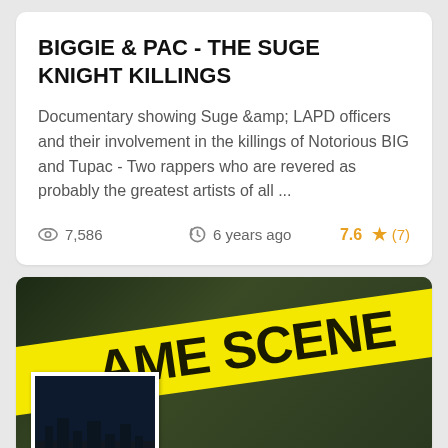BIGGIE & PAC - THE SUGE KNIGHT KILLINGS
Documentary showing Suge &amp; LAPD officers and their involvement in the killings of Notorious BIG and Tupac - Two rappers who are revered as probably the greatest artists of all ...
7,586   6 years ago   7.6 ★ (7)
[Figure (photo): Crime scene tape photo with yellow tape reading 'AME SCENE' diagonally across a dark background, with a smaller inset card image showing a night scene]